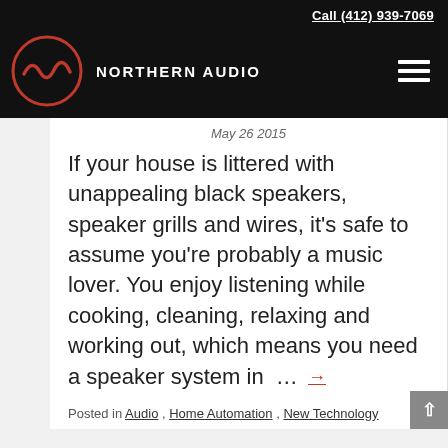Call (412) 939-7069 | NORTHERN AUDIO
May 26 2015
If your house is littered with unappealing black speakers, speaker grills and wires, it’s safe to assume you’re probably a music lover. You enjoy listening while cooking, cleaning, relaxing and working out, which means you need a speaker system in … →
Posted in Audio, Home Automation, New Technology